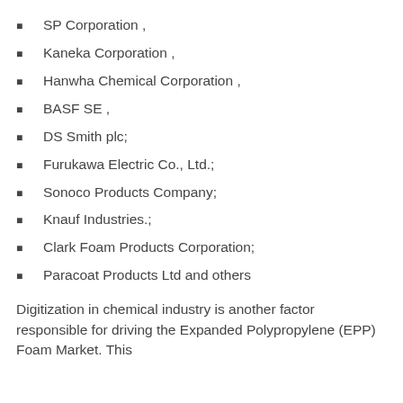SP Corporation ,
Kaneka Corporation ,
Hanwha Chemical Corporation ,
BASF SE ,
DS Smith plc;
Furukawa Electric Co., Ltd.;
Sonoco Products Company;
Knauf Industries.;
Clark Foam Products Corporation;
Paracoat Products Ltd and others
Digitization in chemical industry is another factor responsible for driving the Expanded Polypropylene (EPP) Foam Market. This